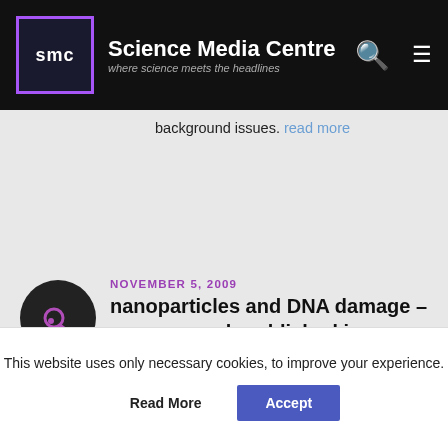Science Media Centre — where science meets the headlines
background issues. read more
NOVEMBER 5, 2009
nanoparticles and DNA damage – new research published in Nature Nanotechnology
The authors of this study came to the SMC to describe their work investigating if and how particular nanoparticles can damage the DNA of cells without crossing cellular barriers. read more
This website uses only necessary cookies, to improve your experience.
Read More   Accept